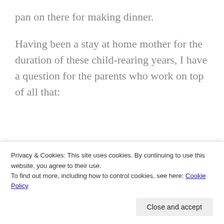pan on there for making dinner.
Having been a stay at home mother for the duration of these child-rearing years, I have a question for the parents who work on top of all that:
[blockquote content partially obscured]
Privacy & Cookies: This site uses cookies. By continuing to use this website, you agree to their use.
To find out more, including how to control cookies, see here: Cookie Policy
Close and accept